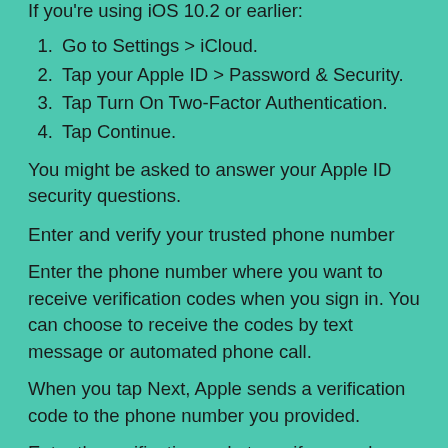If you're using iOS 10.2 or earlier:
Go to Settings > iCloud.
Tap your Apple ID > Password & Security.
Tap Turn On Two-Factor Authentication.
Tap Continue.
You might be asked to answer your Apple ID security questions.
Enter and verify your trusted phone number
Enter the phone number where you want to receive verification codes when you sign in. You can choose to receive the codes by text message or automated phone call.
When you tap Next, Apple sends a verification code to the phone number you provided.
Enter the verification code to verify your phone number and turn on